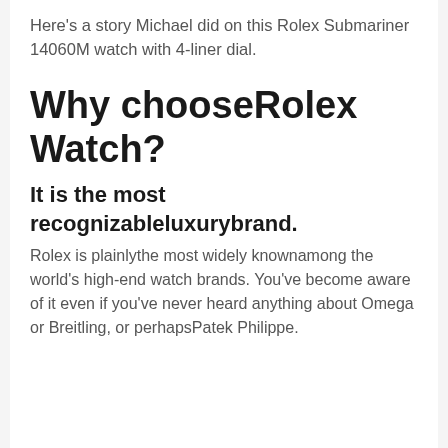Here's a story Michael did on this Rolex Submariner 14060M watch with 4-liner dial.
Why chooseRolex Watch?
It is the most recognizableluxurybrand.
Rolex is plainlythe most widely knownamong the world's high-end watch brands. You've become aware of it even if you've never heard anything about Omega or Breitling, or perhapsPatek Philippe.